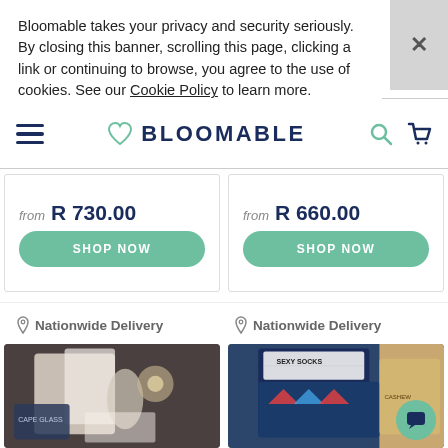Bloomable takes your privacy and security seriously. By closing this banner, scrolling this page, clicking a link or continuing to browse, you agree to the use of cookies. See our Cookie Policy to learn more.
[Figure (logo): Bloomable logo with heart icon, hamburger menu, search and cart icons in navy and teal]
from R 730.00
SHOP NOW
from R 660.00
SHOP NOW
Nationwide Delivery
Nationwide Delivery
[Figure (photo): Gift box with knitted item, glass bottle, and Cape Glass product]
[Figure (photo): Gift box with Sexy Socks, patterned socks and other items with chat bubble overlay]